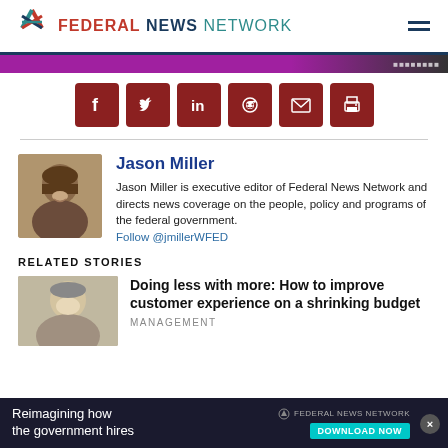FEDERAL NEWS NETWORK
[Figure (screenshot): Purple advertisement banner]
[Figure (screenshot): Social sharing icons: Facebook, Twitter, LinkedIn, Reddit, Email, Print]
[Figure (photo): Headshot photo of Jason Miller]
Jason Miller
Jason Miller is executive editor of Federal News Network and directs news coverage on the people, policy and programs of the federal government. Follow @jmillerWFED
RELATED STORIES
[Figure (photo): Photo of older man for related story]
Doing less with more: How to improve customer experience on a shrinking budget
MANAGEMENT
[Figure (screenshot): Bottom advertisement: Reimagining how the government hires - Federal News Network - Download Now]